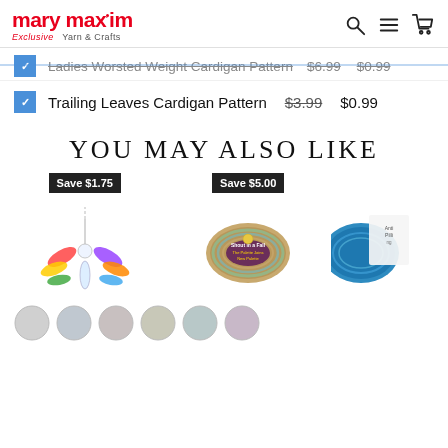mary maxim — Exclusive Yarn & Crafts
Ladies Worsted Weight Cardigan Pattern $6.99 $0.99
Trailing Leaves Cardigan Pattern $3.99 $0.99
YOU MAY ALSO LIKE
[Figure (photo): Rainbow crystal angel suncatcher pendant with colorful crystal wings, Save $1.75 badge]
[Figure (photo): Skein of multicolor yarn (Shout in a Fall, The Palette Joins New Palette), Save $5.00 badge]
[Figure (photo): Blue skein of yarn (Anti Pilling label), partially visible]
[Figure (photo): Row of circular avatar thumbnails at bottom of page]